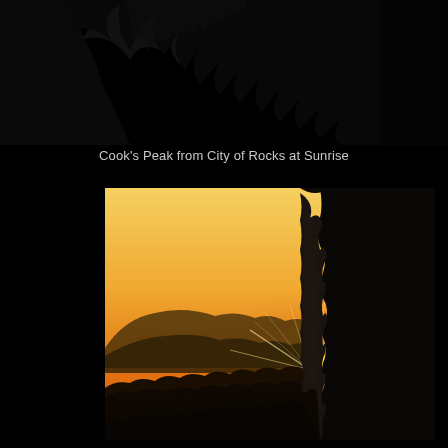[Figure (photo): Dark background with tree silhouettes at top. Text caption reads 'Cook's Peak from City of Rocks at Sunrise'. Below is a photograph showing a dramatic sunrise scene: a large dark rock formation silhouetted on the right, with the sun creating a starburst lens flare effect where it peeks behind the rock edge. The background shows warm golden-orange sky, distant mountain silhouettes, and desert scrub vegetation in the foreground, all in silhouette.]
Cook's Peak from City of Rocks at Sunrise